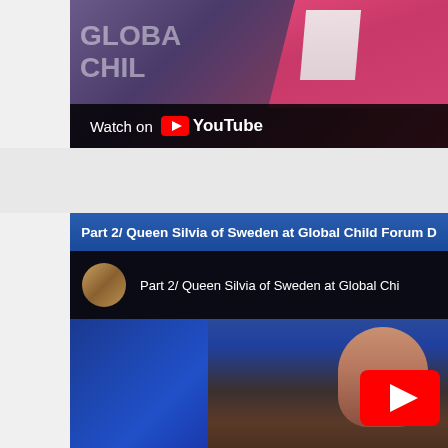[Figure (screenshot): YouTube video thumbnail showing 'Watch on YouTube' overlay with a woman in pink jacket at a Global Child Forum event. Text 'GLOBAL CHILD' visible in background.]
Part 2/ Queen Silvia of Sweden at Global Child Forum D
[Figure (screenshot): YouTube video embed for 'Part 2/ Queen Silvia of Sweden at Global Chi...' with channel avatar, video title, and play button overlay. Shows Queen Silvia at podium against blue background.]